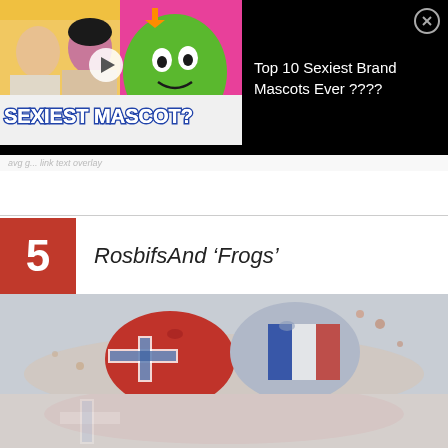[Figure (screenshot): Ad banner showing 'Top 10 Sexiest Brand Mascots Ever ????' with thumbnail of people reacting to green M&M mascot and 'SEXIEST MASCOT?' text overlay. Black background with close button.]
RosbifsAnd 'Frogs'
[Figure (photo): Photo of two fists painted with British Union Jack and French tricolor flags clashing together with liquid splash effect on grey background.]